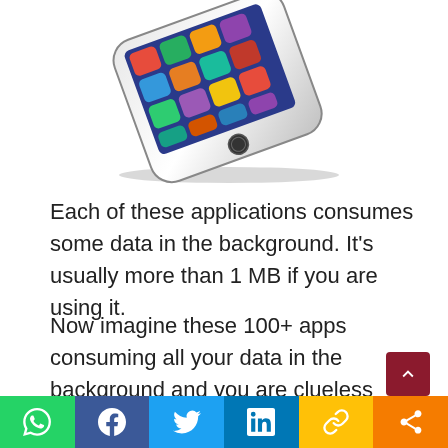[Figure (photo): Photograph of a white iPhone with multiple app icons displayed on screen, viewed at an angle from above]
Each of these applications consumes some data in the background. It's usually more than 1 MB if you are using it.
Now imagine these 100+ apps consuming all your data in the background and you are clueless about it.
Your 100-200 MB of data is easily getting drained or